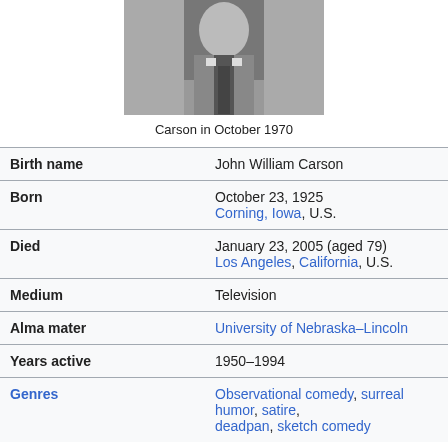[Figure (photo): Black and white photo of Carson in October 1970, cropped to show upper body with suit and tie]
Carson in October 1970
| Birth name | John William Carson |
| Born | October 23, 1925
Corning, Iowa, U.S. |
| Died | January 23, 2005 (aged 79)
Los Angeles, California, U.S. |
| Medium | Television |
| Alma mater | University of Nebraska–Lincoln |
| Years active | 1950–1994 |
| Genres | Observational comedy, surreal humor, satire, deadpan, sketch comedy |